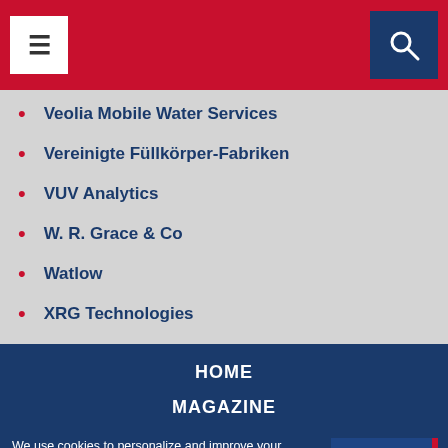Navigation header with menu and search buttons
Veolia Mobile Water Services
Vereinigte Füllkörper-Fabriken
VUV Analytics
W. R. Grace & Co
Watlow
XRG Technologies
HOME
MAGAZINE
We use cookies to personalize and improve your experience on our site. Visit our Privacy Policy and Cookie Policy to learn more. You can opt out of some cookies by adjusting your browser settings. More information on how to do this can be found in the cookie policy. By using our site, you agree to our use of cookies.